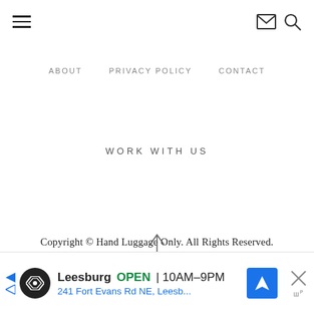Navigation header with hamburger menu, email icon, and search icon
ABOUT   PRIVACY POLICY   CONTACT
WORK WITH US
Copyright © Hand Luggage Only. All Rights Reserved.
Exclusive Member of Mediavine Travel
[Figure (other): Up arrow icon for scroll to top]
Leesburg  OPEN  10AM–9PM  241 Fort Evans Rd NE, Leesb...